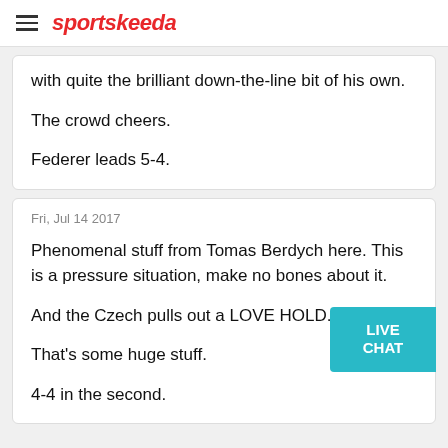sportskeeda
with quite the brilliant down-the-line bit of his own.

The crowd cheers.

Federer leads 5-4.
Fri, Jul 14 2017

Phenomenal stuff from Tomas Berdych here. This is a pressure situation, make no bones about it.

And the Czech pulls out a LOVE HOLD.

That's some huge stuff.

4-4 in the second.